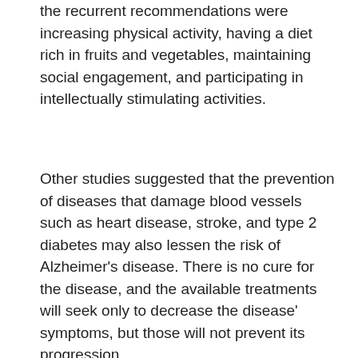the recurrent recommendations were increasing physical activity, having a diet rich in fruits and vegetables, maintaining social engagement, and participating in intellectually stimulating activities.
Other studies suggested that the prevention of diseases that damage blood vessels such as heart disease, stroke, and type 2 diabetes may also lessen the risk of Alzheimer's disease. There is no cure for the disease, and the available treatments will seek only to decrease the disease' symptoms, but those will not prevent its progression.
[Figure (screenshot): Embedded tweet from @soundmindintel (Soundmind) with Twitter bird logo. Contains a link to nytimes.com/2016/05/26/hea... and text: 'Could it be that Alzheimer's disease stems from the toxic remnants of the body's attempts to fight off infection?']